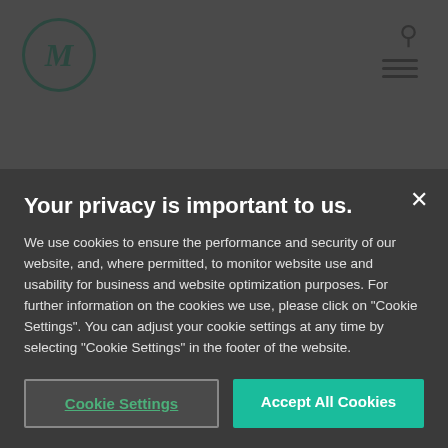[Figure (logo): Circular logo with letter M in teal/green color]
The rare circumstances include only two situations:
1. When the petitioner is not involved in the motion to amend, such as when a petitioner chooses not to
Your privacy is important to us.
We use cookies to ensure the performance and security of our website, and, where permitted, to monitor website use and usability for business and website optimization purposes. For further information on the cookies we use, please click on "Cookie Settings". You can adjust your cookie settings at any time by selecting "Cookie Settings" in the footer of the website.
Cookie Settings
Accept All Cookies